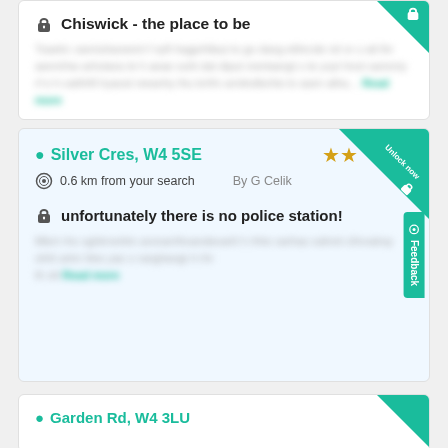Chiswick - the place to be
[blurred review text] Read more
Silver Cres, W4 5SE
0.6 km from your search    By G Celik
unfortunately there is no police station!
[blurred review text] Read more
Garden Rd, W4 3LU